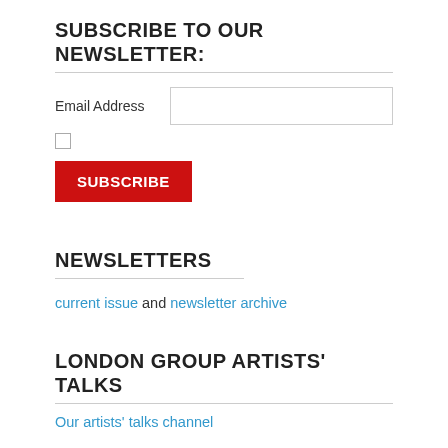SUBSCRIBE TO OUR NEWSLETTER:
Email Address [input field] SUBSCRIBE button
NEWSLETTERS
current issue and newsletter archive
LONDON GROUP ARTISTS' TALKS
Our artists' talks channel